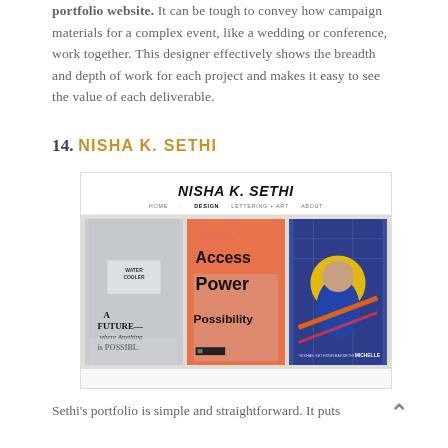portfolio website. It can be tough to convey how campaign materials for a complex event, like a wedding or conference, work together. This designer effectively shows the breadth and depth of work for each project and makes it easy to see the value of each deliverable.
14. NISHA K. SETHI
[Figure (screenshot): Screenshot of Nisha K. Sethi's portfolio website showing her name/logo, navigation menu (HOME, DESIGN, LETTERING + ART, ABOUT), and a grid of three project images: a typographic mural photo, an Access/Power/Possibility documentary poster, and an illustrated portrait of Michelle.]
Sethi's portfolio is simple and straightforward. It puts